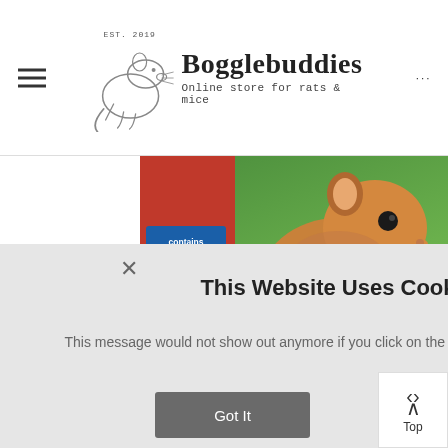Bogglebuddies - Online store for rats & mice
[Figure (photo): Product packaging for a small animal treatment containing ivermectin, showing two rodents (gerbils or similar) on a red and green package. Label text visible: 'contains ivermectin', 'Effective against lice, fleas, mange mites, other mites and roundworms for up to 4 weeks']
This Website Uses Cookies?
This message would not show out anymore if you click on the GOT IT or closing button.
Got It